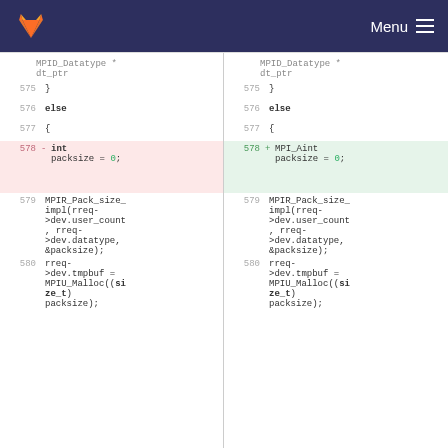Menu
[Figure (screenshot): Code diff view showing two sides. Left side (removed, red): line 578 has 'int packsize = 0;'. Right side (added, green): line 578 has 'MPI_Aint packsize = 0;'. Both sides share lines 575-577 (closing brace, else, opening brace) and lines 579-580 with MPIR_Pack_size_impl and MPIU_Malloc calls. Header shows MPID_Datatype * dt_ptr on both sides.]